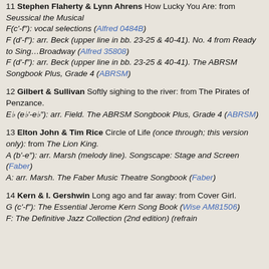11 Stephen Flaherty & Lynn Ahrens How Lucky You Are: from Seussical the Musical
F(c'-f"): vocal selections (Alfred 0484B)
F (d'-f"): arr. Beck (upper line in bb. 23-25 & 40-41). No. 4 from Ready to Sing…Broadway (Alfred 35808)
F (d'-f"): arr. Beck (upper line in bb. 23-25 & 40-41). The ABRSM Songbook Plus, Grade 4 (ABRSM)
12 Gilbert & Sullivan Softly sighing to the river: from The Pirates of Penzance.
E♭ (e♭'-e♭"): arr. Field. The ABRSM Songbook Plus, Grade 4 (ABRSM)
13 Elton John & Tim Rice Circle of Life (once through; this version only): from The Lion King.
A (b'-e"): arr. Marsh (melody line). Songscape: Stage and Screen (Faber)
A: arr. Marsh. The Faber Music Theatre Songbook (Faber)
14 Kern & I. Gershwin Long ago and far away: from Cover Girl.
G (c'-f"): The Essential Jerome Kern Song Book (Wise AM81506)
F: The Definitive Jazz Collection (2nd edition) (refrain